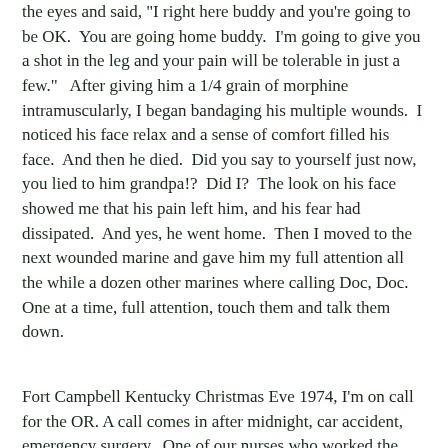the eyes and said, 'I right here buddy and you're going to be OK. You are going home buddy. I'm going to give you a shot in the leg and your pain will be tolerable in just a few.' After giving him a 1/4 grain of morphine intramuscularly, I began bandaging his multiple wounds. I noticed his face relax and a sense of comfort filled his face. And then he died. Did you say to yourself just now, you lied to him grandpa!? Did I? The look on his face showed me that his pain left him, and his fear had dissipated. And yes, he went home. Then I moved to the next wounded marine and gave him my full attention all the while a dozen other marines where calling Doc, Doc. One at a time, full attention, touch them and talk them down.
Fort Campbell Kentucky Christmas Eve 1974, I'm on call for the OR. A call comes in after midnight, car accident, emergency surgery. One of our nurses who worked the psychiatric ward was returning from a party in Hopkinsville, Kentucky gets in a car accident. She is in the OR on the table when I arrive; I'm less than 5 minutes from the hospital. Attaching the monitoring devices, EKG, B/P, pulse oximeter, and a large bore IV is the first order of business. The patient says, "Bob, am I going to die?" Placing both hand on either side of her face, I say, "Janet, nobody